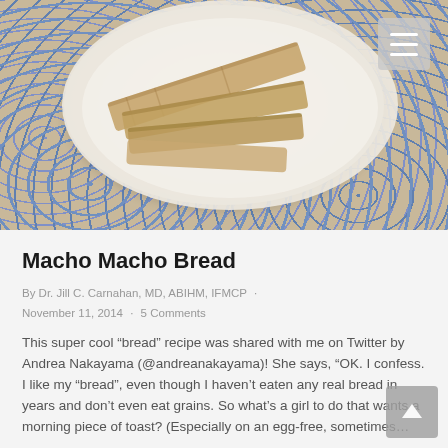[Figure (photo): Photo of flat bread pieces on a white plate with blue floral tablecloth, viewed from above]
Macho Macho Bread
By Dr. Jill C. Carnahan, MD, ABIHM, IFMCP · November 11, 2014 · 5 Comments
This super cool “bread” recipe was shared with me on Twitter by Andrea Nakayama (@andreanakayama)! She says, “OK. I confess. I like my “bread”, even though I haven’t eaten any real bread in years and don’t even eat grains. So what’s a girl to do that wants a morning piece of toast? (Especially on an egg-free, sometimes…